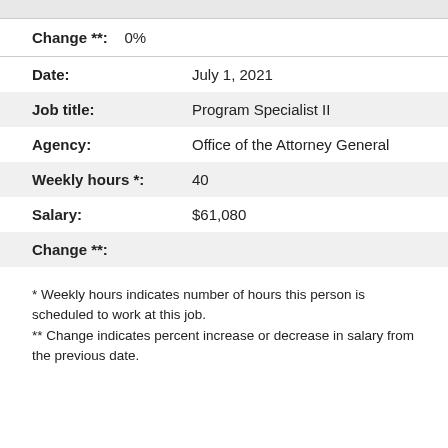Change **: 0%
| Date: | July 1, 2021 |
| Job title: | Program Specialist II |
| Agency: | Office of the Attorney General |
| Weekly hours *: | 40 |
| Salary: | $61,080 |
| Change **: |  |
* Weekly hours indicates number of hours this person is scheduled to work at this job.
** Change indicates percent increase or decrease in salary from the previous date.